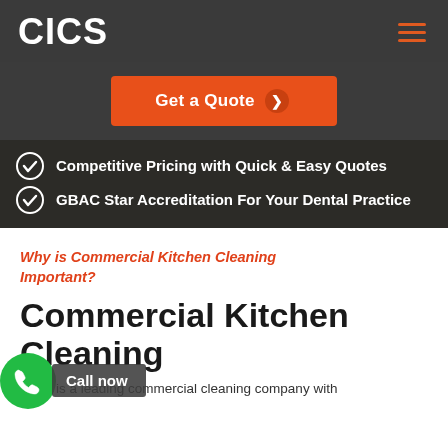CICS
[Figure (screenshot): Get a Quote button (orange) with right-pointing arrow icon]
Competitive Pricing with Quick & Easy Quotes
GBAC Star Accreditation For Your Dental Practice
Why is Commercial Kitchen Cleaning Important?
Commercial Kitchen Cleaning
CICS is a leading commercial cleaning company with